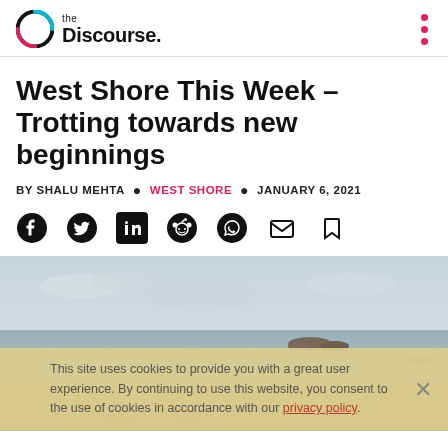the Discourse.
West Shore This Week – Trotting towards new beginnings
BY SHALU MEHTA • WEST SHORE • JANUARY 6, 2021
[Figure (other): Social sharing icons: Facebook, Twitter, LinkedIn, Reddit, WhatsApp, Email, Bookmark]
[Figure (photo): Beach scene with calm ocean water, horizon, and sandy shore. A person and dog visible in the water/beach area. Cookie consent banner overlaid at bottom.]